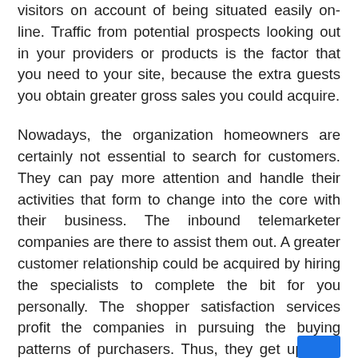visitors on account of being situated easily on-line. Traffic from potential prospects looking out in your providers or products is the factor that you need to your site, because the extra guests you obtain greater gross sales you could acquire.
Nowadays, the organization homeowners are certainly not essential to search for customers. They can pay more attention and handle their activities that form to change into the core with their business. The inbound telemarketer companies are there to assist them out. A greater customer relationship could be acquired by hiring the specialists to complete the bit for you personally. The shopper satisfaction services profit the companies in pursuing the buying patterns of purchasers. Thus, they get updated using the brand new traits and form up just a few and providers accordingly.